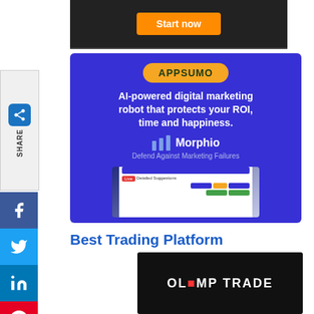[Figure (screenshot): Top advertisement banner with dark background and orange 'Start now' button]
[Figure (illustration): AppSumo advertisement banner with purple background featuring Morphio AI-powered digital marketing robot. Text: AI-powered digital marketing robot that protects your ROI, time and happiness. Morphio - Defend Against Marketing Failures. Shows a dashboard screenshot.]
Best Trading Platform
[Figure (logo): Olymp Trade dark banner with white text logo on black background]